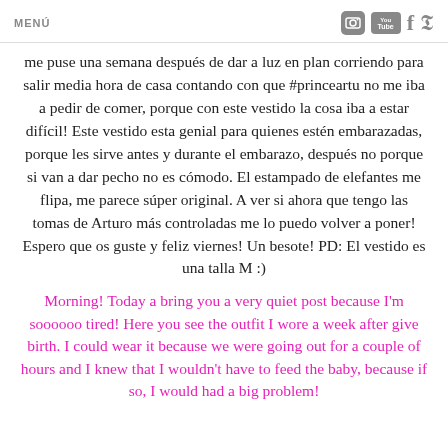MENÚ
me puse una semana después de dar a luz en plan corriendo para salir media hora de casa contando con que #princeartu no me iba a pedir de comer, porque con este vestido la cosa iba a estar difícil! Este vestido esta genial para quienes estén embarazadas, porque les sirve antes y durante el embarazo, después no porque si van a dar pecho no es cómodo. El estampado de elefantes me flipa, me parece súper original. A ver si ahora que tengo las tomas de Arturo más controladas me lo puedo volver a poner! Espero que os guste y feliz viernes! Un besote! PD: El vestido es una talla M :)
Morning! Today a bring you a very quiet post because I'm soooooo tired! Here you see the outfit I wore a week after give birth. I could wear it because we were going out for a couple of hours and I knew that I wouldn't have to feed the baby, because if so, I would had a big problem!